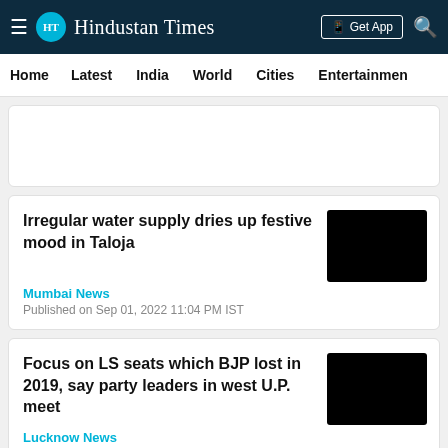≡ HT Hindustan Times | Get App 🔍
Home   Latest   India   World   Cities   Entertainment
[Figure (other): Advertisement placeholder banner]
Irregular water supply dries up festive mood in Taloja
Mumbai News
Published on Sep 01, 2022 11:04 PM IST
Focus on LS seats which BJP lost in 2019, say party leaders in west U.P. meet
Lucknow News
Updated on Sep 01, 2022 11:01 PM IST